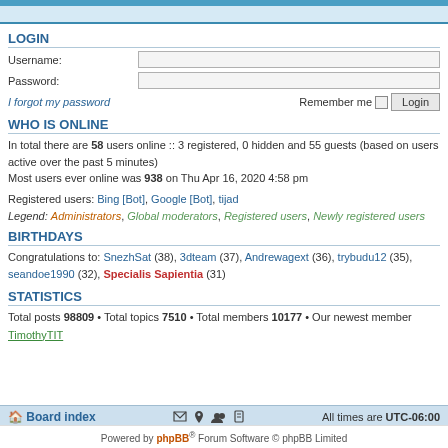LOGIN
Username:
Password:
I forgot my password   Remember me  Login
WHO IS ONLINE
In total there are 58 users online :: 3 registered, 0 hidden and 55 guests (based on users active over the past 5 minutes)
Most users ever online was 938 on Thu Apr 16, 2020 4:58 pm
Registered users: Bing [Bot], Google [Bot], tijad
Legend: Administrators, Global moderators, Registered users, Newly registered users
BIRTHDAYS
Congratulations to: SnezhSat (38), 3dteam (37), Andrewagext (36), trybudu12 (35), seandoe1990 (32), Specialis Sapientia (31)
STATISTICS
Total posts 98809 • Total topics 7510 • Total members 10177 • Our newest member TimothyTIT
Board index   All times are UTC-06:00
Powered by phpBB® Forum Software © phpBB Limited